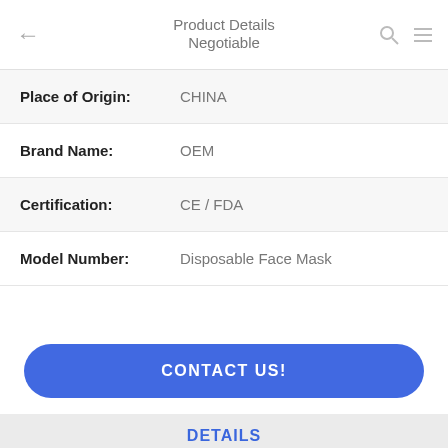Product Details / Negotiable
| Field | Value |
| --- | --- |
| Place of Origin: | CHINA |
| Brand Name: | OEM |
| Certification: | CE / FDA |
| Model Number: | Disposable Face Mask |
CONTACT US!
DETAILS
Similar Products